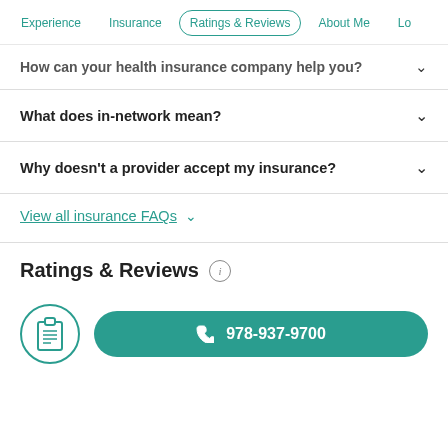Experience | Insurance | Ratings & Reviews | About Me | Lo...
How can your health insurance company help you?
What does in-network mean?
Why doesn't a provider accept my insurance?
View all insurance FAQs
Ratings & Reviews
978-937-9700